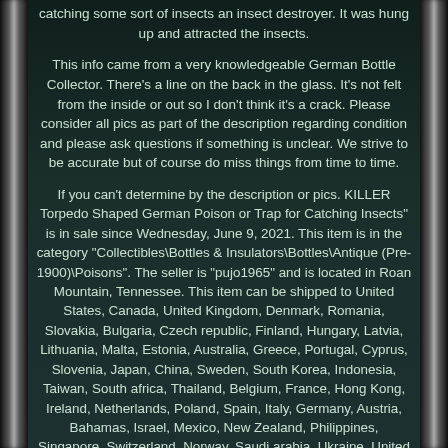catching some sort of insects an insect destroyer. It was hung up and attracted the insects.
This info came from a very knowledgeable German Bottle Collector. There's a line on the back in the glass. It's not felt from the inside or out so I don't think it's a crack. Please consider all pics as part of the description regarding condition and please ask questions if something is unclear. We strive to be accurate but of course do miss things from time to time.
If you can't determine by the description or pics. KILLER Torpedo Shaped German Poison or Trap for Catching Insects" is in sale since Wednesday, June 9, 2021. This item is in the category "Collectibles\Bottles & Insulators\Bottles\Antique (Pre-1900)\Poisons". The seller is "pujo1965" and is located in Roan Mountain, Tennessee. This item can be shipped to United States, Canada, United Kingdom, Denmark, Romania, Slovakia, Bulgaria, Czech republic, Finland, Hungary, Latvia, Lithuania, Malta, Estonia, Australia, Greece, Portugal, Cyprus, Slovenia, Japan, China, Sweden, South Korea, Indonesia, Taiwan, South africa, Thailand, Belgium, France, Hong Kong, Ireland, Netherlands, Poland, Spain, Italy, Germany, Austria, Bahamas, Israel, Mexico, New Zealand, Philippines, Singapore, Switzerland, Norway, Saudi arabia, Ukraine, United arab emirates, Qatar, Kuwait, Bahrain, Croatia, Malaysia, Chile, Colombia, Costa rica, Panama, Trinidad and tobago, Guatemala,